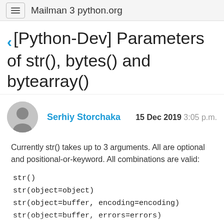Mailman 3 python.org
[Python-Dev] Parameters of str(), bytes() and bytearray()
Serhiy Storchaka   15 Dec 2019 3:05 p.m.
Currently str() takes up to 3 arguments. All are optional and positional-or-keyword. All combinations are valid:
str()
str(object=object)
str(object=buffer, encoding=encoding)
str(object=buffer, errors=errors)
str(object=buffer, encoding=encoding, errors=errors)
str(encoding=encoding)
str(errors=errors)
str(encoding=encoding, errors=errors)